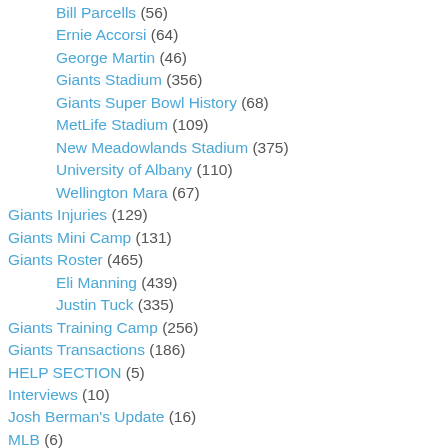Bill Parcells (56)
Ernie Accorsi (64)
George Martin (46)
Giants Stadium (356)
Giants Super Bowl History (68)
MetLife Stadium (109)
New Meadowlands Stadium (375)
University of Albany (110)
Wellington Mara (67)
Giants Injuries (129)
Giants Mini Camp (131)
Giants Roster (465)
Eli Manning (439)
Justin Tuck (335)
Giants Training Camp (256)
Giants Transactions (186)
HELP SECTION (5)
Interviews (10)
Josh Berman's Update (16)
MLB (6)